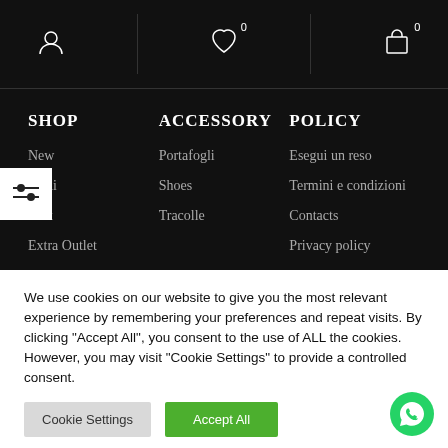[Figure (screenshot): Navigation header with user icon, heart icon with 0 badge, and cart icon with 0 badge on black background]
SHOP
New
Saldi
Outlet
Extra Outlet
ACCESSORY
Portafogli
Shoes
Tracolle
POLICY
Esegui un reso
Termini e condizioni
Contacts
Privacy policy
We use cookies on our website to give you the most relevant experience by remembering your preferences and repeat visits. By clicking “Accept All”, you consent to the use of ALL the cookies. However, you may visit “Cookie Settings” to provide a controlled consent.
Cookie Settings
Accept All